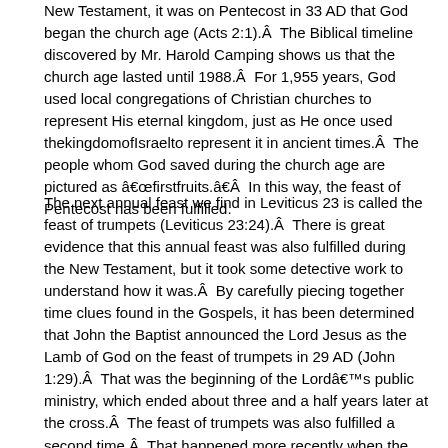New Testament, it was on Pentecost in 33 AD that God began the church age (Acts 2:1).Â  The Biblical timeline discovered by Mr. Harold Camping shows us that the church age lasted until 1988.Â  For 1,955 years, God used local congregations of Christian churches to represent His eternal kingdom, just as He once used thekingdomofIsraelto represent it in ancient times.Â  The people whom God saved during the church age are pictured as â€œfirstfruits.â€Â  In this way, the feast of Pentecost has been fulfilled.
The next annual feast we find in Leviticus 23 is called the feast of trumpets (Leviticus 23:24).Â  There is great evidence that this annual feast was also fulfilled during the New Testament, but it took some detective work to understand how it was.Â  By carefully piecing together time clues found in the Gospels, it has been determined that John the Baptist announced the Lord Jesus as the Lamb of God on the feast of trumpets in 29 AD (John 1:29).Â  That was the beginning of the Lordâ€™s public ministry, which ended about three and a half years later at the cross.Â  The feast of trumpets was also fulfilled a second time.Â  That happened more recently when the Lord began the â€œlatter rainâ€ in 1994.Â  During that period, which lasted until 2011, God saved a great multitude of people all over the world.